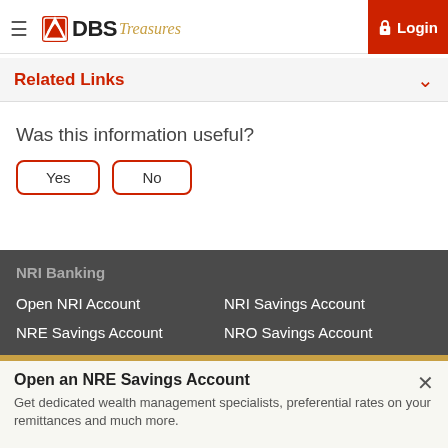DBS Treasures — Navigation bar with hamburger menu, DBS Treasures logo, help button, and Login button
Related Links
Was this information useful?
Yes   No
NRI Banking
Open NRI Account
NRI Savings Account
NRE Savings Account
NRO Savings Account
Open an NRE Savings Account
Get dedicated wealth management specialists, preferential rates on your remittances and much more.